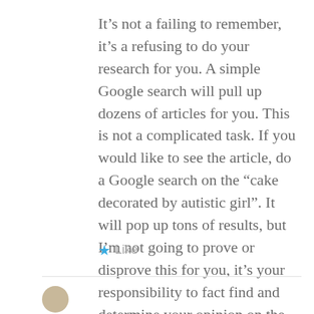It’s not a failing to remember, it’s a refusing to do your research for you. A simple Google search will pull up dozens of articles for you. This is not a complicated task. If you would like to see the article, do a Google search on the “cake decorated by autistic girl”. It will pop up tons of results, but I’m not going to prove or disprove this for you, it’s your responsibility to fact find and determine your opinion on the matter your own.
★ Like